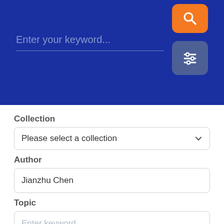[Figure (screenshot): Blue header bar with search input field 'Enter your keyword...', an orange search button with magnifying glass icon, and a dark blue filter/settings button with sliders icon]
Collection
Please select a collection
Author
Jianzhu Chen
Topic
Enter keyword...
Funding info
Enter keyword...